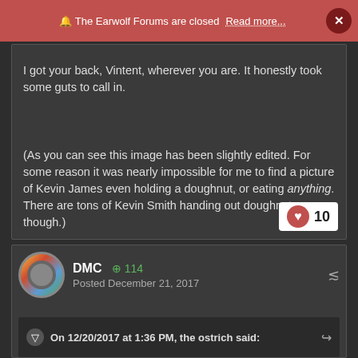🔔 The Earwolf Forums are closed   Read more...   ×
I got your back, Vintent, wherever you are. It honestly took some guts to call in.
(As you can see this image has been slightly edited. For some reason it was nearly impossible for me to find a picture of Kevin James even holding a doughnut, or eating anything. There are tons of Kevin Smith handing out doughnuts, though.)
❤ 10
DMC ⊕ 114
Posted December 21, 2017
On 12/20/2017 at 1:36 PM, the ostrich said: